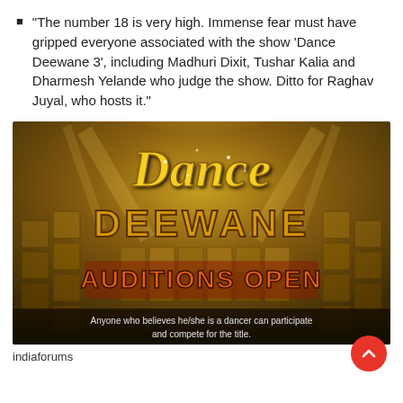"The number 18 is very high. Immense fear must have gripped everyone associated with the show 'Dance Deewane 3', including Madhuri Dixit, Tushar Kalia and Dharmesh Yelande who judge the show. Ditto for Raghav Juyal, who hosts it."
[Figure (photo): Promotional image for Dance Deewane TV show. Gold glittery title 'Dance' in script font, 'DEEWANE' in bold block letters, 'AUDITIONS OPEN' in orange/gold text, with text 'Anyone who believes he/she is a dancer can participate and compete for the title.' Dark gold/brown background with stage lighting effects and grid pattern.]
indiaforums